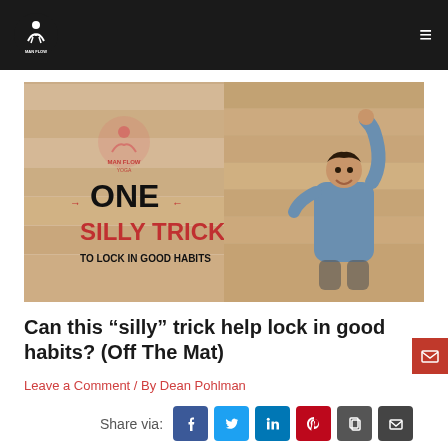Man Flow Yoga navigation bar
[Figure (photo): Blog post header image for Man Flow Yoga: left half shows logo and text 'ONE SILLY TRICK TO LOCK IN GOOD HABITS' on wood plank background; right half shows a man in blue t-shirt raising his fist against a wood plank wall.]
Can this “silly” trick help lock in good habits? (Off The Mat)
Leave a Comment / By Dean Pohlman
Share via: